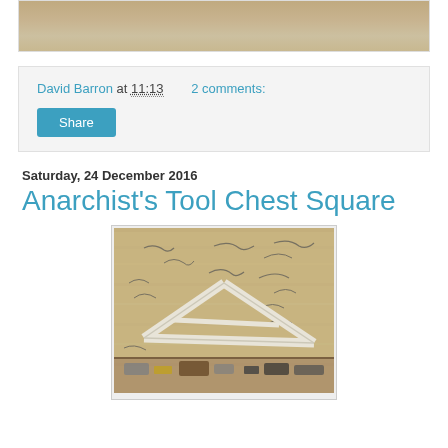[Figure (photo): Top portion of a wooden surface photo, cropped at top]
David Barron at 11:13    2 comments:
Share
Saturday, 24 December 2016
Anarchist's Tool Chest Square
[Figure (photo): A wooden try square or tool chest square with a triangular frame shape, placed on a wooden surface covered with hand-written signatures. Tools visible at the bottom of the image.]